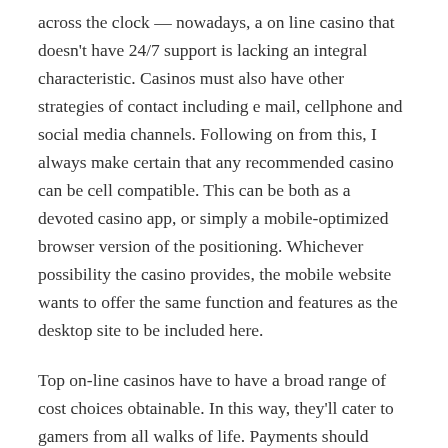across the clock — nowadays, a on line casino that doesn't have 24/7 support is lacking an integral characteristic. Casinos must also have other strategies of contact including e mail, cellphone and social media channels. Following on from this, I always make certain that any recommended casino can be cell compatible. This can be both as a devoted casino app, or simply a mobile-optimized browser version of the positioning. Whichever possibility the casino provides, the mobile website wants to offer the same function and features as the desktop site to be included here.
Top on-line casinos have to have a broad range of cost choices obtainable. In this way, they'll cater to gamers from all walks of life. Payments should embody debit card options in addition to a spread of e-wallets, pay as you go choices, cryptocurrencies, and bank transfers.
Neither would have dreamed they may win massive – however